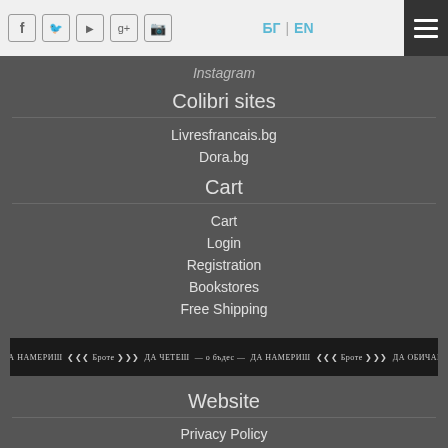БГ | EN [social icons: Facebook, Twitter, YouTube, Google+, Instagram] [hamburger menu]
Instagram
Colibri sites
Livresfrancais.bg
Dora.bg
Cart
Cart
Login
Registration
Bookstores
Free Shipping
[Figure (illustration): Banner strip with Cyrillic text: ДА НАМЕРИШ [logo] ДА ЧЕТЕШ — о бъдес — ДА НАМЕРИШ [logo] ДА ОБИЧАШ]
Website
Privacy Policy